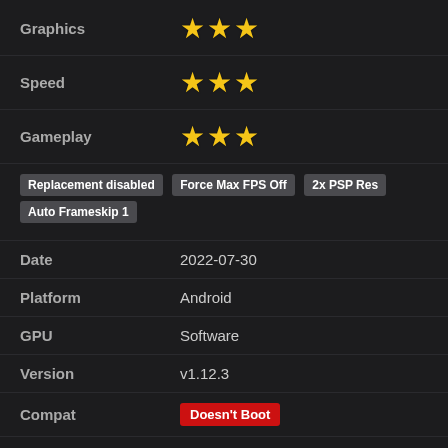| Field | Value |
| --- | --- |
| Graphics | ★★★ |
| Speed | ★★★ |
| Gameplay | ★★★ |
| Tags | Replacement disabled | Force Max FPS Off | 2x PSP Res | Auto Frameskip 1 |
| Date | 2022-07-30 |
| Platform | Android |
| GPU | Software |
| Version | v1.12.3 |
| Compat | Doesn't Boot |
| Graphics | ★☆☆ |
| Speed | ★☆☆ |